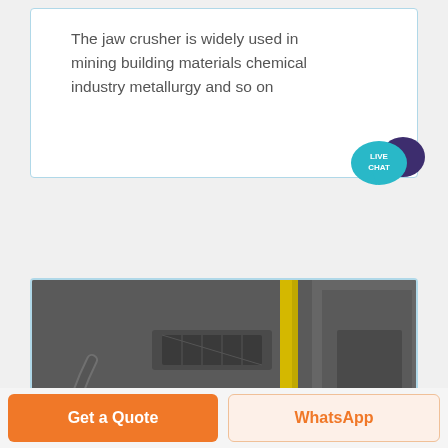The jaw crusher is widely used in mining building materials chemical industry metallurgy and so on
[Figure (photo): Aerial/top-down view of industrial jaw crusher machinery with conveyor belts, mechanical components, yellow safety rail, and orange knobs/handles]
Get a Quote
WhatsApp